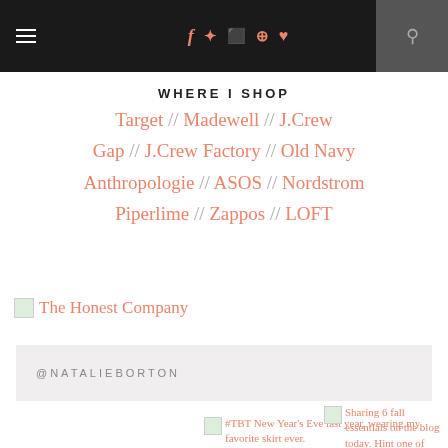Navigation bar with hamburger menu, social icons (f, twitter, instagram, pinterest, heart), and search
WHERE I SHOP
Target // Madewell // J.Crew // Gap // J.Crew Factory // Old Navy // Anthropologie // ASOS // Nordstrom // Piperlime // Zappos // LOFT
[Figure (logo): The Honest Company image placeholder with text link]
@NATALIEBORTON
[Figure (photo): #TBT New Year's Eve last year, wearing my favorite skirt ever.]
[Figure (photo): Sharing 6 fall essentials on the blog today. Hint one of them is ankle boots! <direct link in]